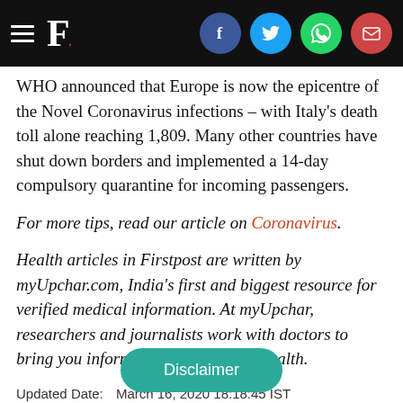Firstpost header with logo and social share icons
WHO announced that Europe is now the epicentre of the Novel Coronavirus infections – with Italy's death toll alone reaching 1,809. Many other countries have shut down borders and implemented a 14-day compulsory quarantine for incoming passengers.
For more tips, read our article on Coronavirus.
Health articles in Firstpost are written by myUpchar.com, India's first and biggest resource for verified medical information. At myUpchar, researchers and journalists work with doctors to bring you information on all things health.
Updated Date:  March 16, 2020 18:18:45 IST
TAGS: China Virus  Coronavirus  Coronavirus India  Co
Disclaimer